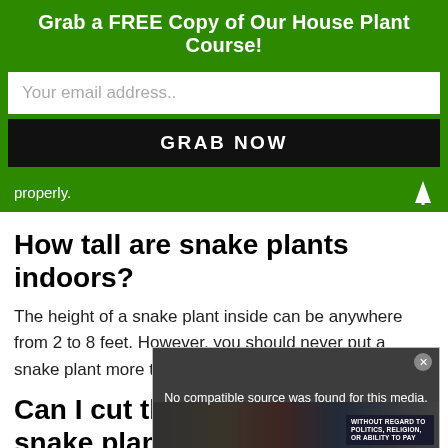Grab a FREE Copy of Our House Plant Course!
Your email address..
GRAB NOW
properly.
How tall are snake plants indoors?
The height of a snake plant inside can be anywhere from 2 to 8 feet. However, you should never put a snake plant more than 12 feet tall indoors.
Can I cut the brown tips off my snake plant?
[Figure (screenshot): Video player overlay showing 'No compatible source was found for this media.' with an advertisement image of an airplane below, and a badge reading 'WITHOUT REGARD TO POLITICS, RELIGION, OR ABILITY TO PAY']